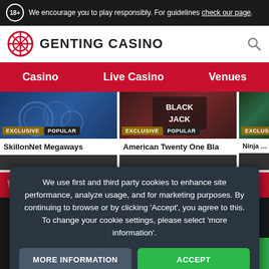18+ We encourage you to play responsibly. For guidelines check our page.
[Figure (logo): Genting Casino logo with red circular emblem and text GENTING CASINO]
Casino  Live Casino  Venues
[Figure (screenshot): Three game cards: SkillonNet Megaways (EXCLUSIVE POPULAR), American Twenty One Bla (EXCLUSIVE POPULAR), Ninja Mast (EXCLUSIVE)]
Why Play With Genting Casino?
We use first and third party cookies to enhance site performance, analyze usage, and for marketing purposes. By continuing to browse or by clicking 'Accept', you agree to this. To change your cookie settings, please select 'more information'.
MORE INFORMATION  ACCEPT
MENU  PROMOS  LOGIN  JOIN